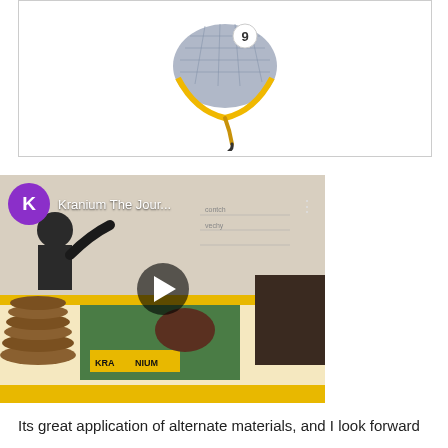[Figure (photo): A Kranium bicycle helmet product photo on white background, with yellow and silver/reflective surface, number 9 visible, with yellow strap]
[Figure (screenshot): YouTube video thumbnail for 'Kranium The Jour...' showing a K circle avatar in purple, play button overlay, and a scene of Kranium products on a table with yellow and green design elements]
Its great application of alternate materials, and I look forward